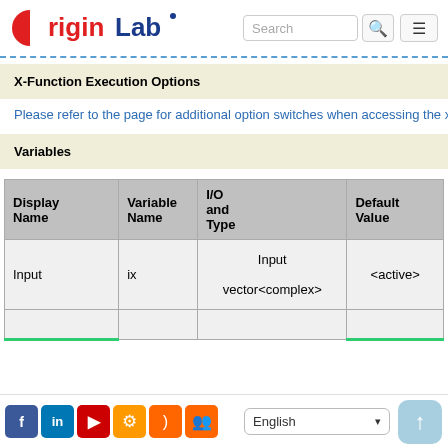OriginLab [Search bar] [Menu]
X-Function Execution Options
Please refer to the page for additional option switches when accessing the x-fun
Variables
| Display Name | Variable Name | I/O and Type | Default Value |
| --- | --- | --- | --- |
| Input | ix | Input
vector<complex> | <active> |
|  |  |  |  |
Social icons | English | Up button